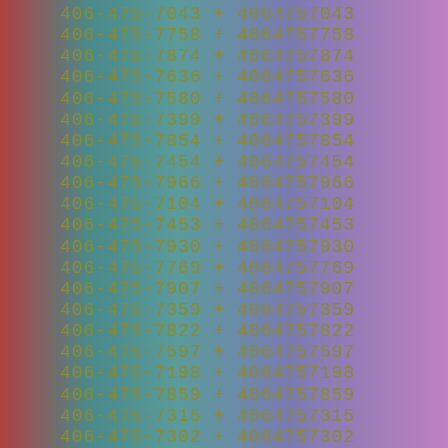406-475-7043 + 4064757043
406-475-7758 + 4064757758
406-475-7874 + 4064757874
406-475-7636 + 4064757636
406-475-7580 + 4064757580
406-475-7399 + 4064757399
406-475-7854 + 4064757854
406-475-7454 + 4064757454
406-475-7966 + 4064757966
406-475-7104 + 4064757104
406-475-7453 + 4064757453
406-475-7930 + 4064757930
406-475-7769 + 4064757769
406-475-7907 + 4064757907
406-475-7359 + 4064757359
406-475-7822 + 4064757822
406-475-7597 + 4064757597
406-475-7198 + 4064757198
406-475-7859 + 4064757859
406-475-7315 + 4064757315
406-475-7302 + 4064757302
406-475-7890 + 4064757890